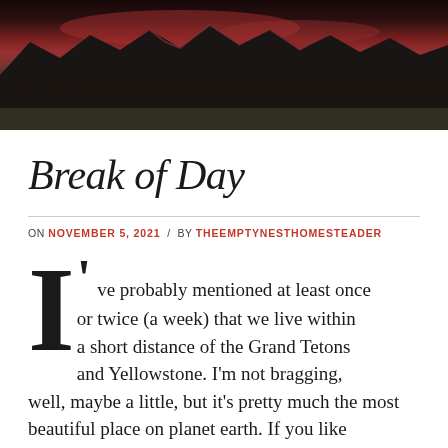[Figure (photo): Panoramic photo of mountains (Grand Tetons) at dusk/dawn with reddish sky and dark landscape]
Break of Day
ON NOVEMBER 5, 2021 / BY THEEMPTYNESTHOMESTEADER
I've probably mentioned at least once or twice (a week) that we live within a short distance of the Grand Tetons and Yellowstone. I'm not bragging, well, maybe a little, but it's pretty much the most beautiful place on planet earth. If you like mountains, waterfalls, and gorgeous landscapes, then